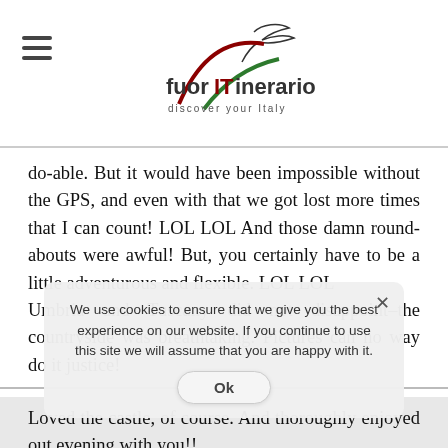fuorITinerario – discover your Italy
do-able. But it would have been impossible without the GPS, and even with that we got lost more times that I can count! LOL LOL And those damn round-abouts were awful! But, you certainly have to be a little adventurous and flexible. LOL LOL
Umbria and Tuscany did not disappoint–the countryside was breathtaking. Pictures can no way do it justice!
Loved the castle, of course. And thoroughly enjoyed out evening with you!!
I think Mel and I both agree that the cooking class was the favorite of the trip. Although it is hard to pick out one specific thing–but we so much enjoyed that. Loved